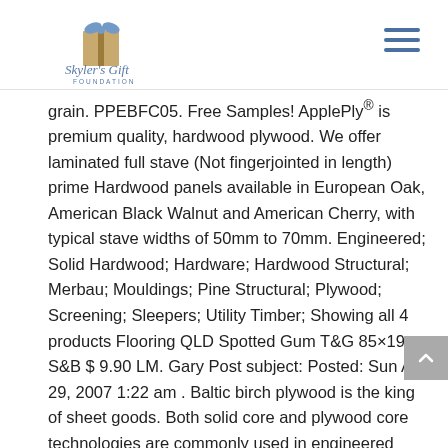Skyler's Gift Foundation
grain. PPEBFC05. Free Samples! ApplePly® is premium quality, hardwood plywood. We offer laminated full stave (Not fingerjointed in length) prime Hardwood panels available in European Oak, American Black Walnut and American Cherry, with typical stave widths of 50mm to 70mm. Engineered; Solid Hardwood; Hardware; Hardwood Structural; Merbau; Mouldings; Pine Structural; Plywood; Screening; Sleepers; Utility Timber; Showing all 4 products Flooring QLD Spotted Gum T&G 85×19 S&B $ 9.90 LM. Gary Post subject: Posted: Sun Apr 29, 2007 1:22 am . Baltic birch plywood is the king of sheet goods. Both solid core and plywood core technologies are commonly used in engineered wood flooring, and both will deliver good results. With Quality as the foundation, we have a deep